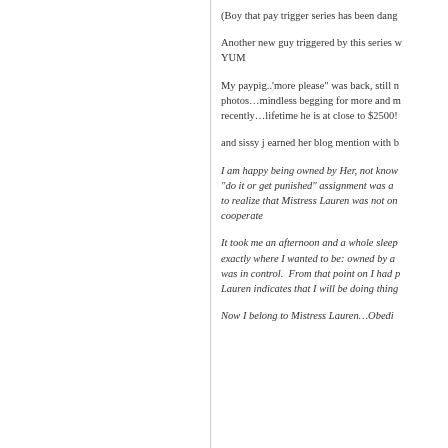(Boy that pay trigger series has been dang
Another new guy triggered by this series w YUM
My paypig..'more please" was back, still n photos…mindless begging for more and m recently…lifetime he is at close to $2500!
and sissy j earned her blog mention with b
I am happy being owned by Her, not know "do it or get punished" assignment was a to realize that Mistress Lauren was not on cooperate
It took me an afternoon and a whole sleep exactly where I wanted to be: owned by a was in control.  From that point on I had p Lauren indicates that I will be doing thing
Now I belong to Mistress Lauren...Obedi